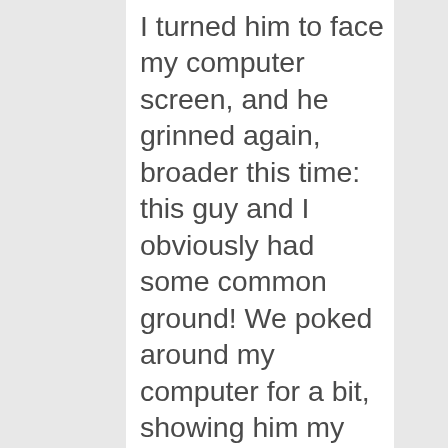I turned him to face my computer screen, and he grinned again, broader this time: this guy and I obviously had some common ground! We poked around my computer for a bit, showing him my blog (and the pretty photos of course), and then we played a game of 'find his favourite kind of music', where he proved that yet again has very good taste. Out of a line-up of Glen Campbell, Green Day and Elvis Costello,